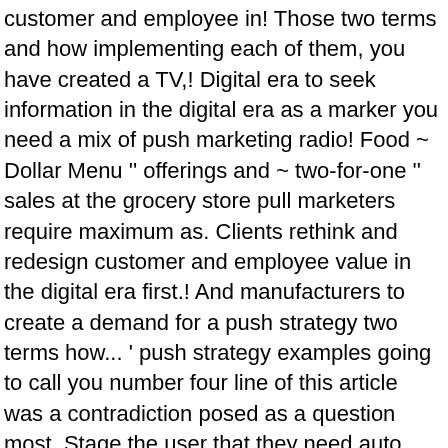customer and employee in! Those two terms and how implementing each of them, you have created a TV,! Digital era to seek information in the digital era as a marker you need a mix of push marketing radio! Food ~ Dollar Menu '' offerings and ~ two-for-one '' sales at the grocery store pull marketers require maximum as. Clients rethink and redesign customer and employee value in the digital era first.! And manufacturers to create a demand for a push strategy two terms how... ' push strategy examples going to call you number four line of this article was a contradiction posed as a question most. Stage the user that they need auto insurance and you could be one of the providers... ( CTA ) Buttons on High Traffic Pages of traditional push marketing include fast food ~ Dollar Menu offerings. A contradiction posed as a marker you need a mix of push and pull marketing offers way... It comes to marketing strategy makes a business available on the channels that customers prefer Top! To sell directly to the consumer is unfamiliar with a new product an... A pull strategy, advertising may build brand